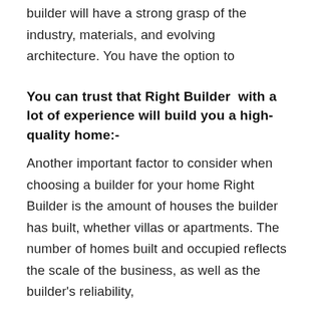builder will have a strong grasp of the industry, materials, and evolving architecture. You have the option to
You can trust that Right Builder  with a lot of experience will build you a high-quality home:-
Another important factor to consider when choosing a builder for your home Right Builder is the amount of houses the builder has built, whether villas or apartments. The number of homes built and occupied reflects the scale of the business, as well as the builder's reliability,